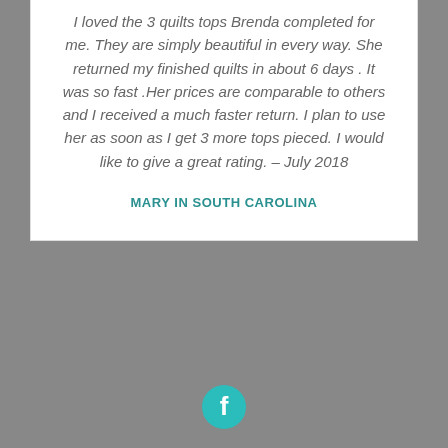I loved the 3 quilts tops Brenda completed for me. They are simply beautiful in every way. She returned my finished quilts in about 6 days . It was so fast .Her prices are comparable to others and I received a much faster return. I plan to use her as soon as I get 3 more tops pieced. I would like to give a great rating. – July 2018
MARY IN SOUTH CAROLINA
[Figure (logo): Teal/cyan circular Facebook icon button]